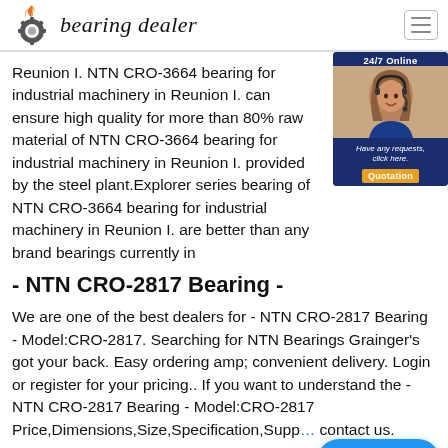bearing dealer
Reunion I. NTN CRO-3664 bearing for industrial machinery in Reunion I. can ensure high quality for more than 80% raw material of NTN CRO-3664 bearing for industrial machinery in Reunion I. provided by the steel plant.Explorer series bearing of NTN CRO-3664 bearing for industrial machinery in Reunion I. are better than any brand bearings currently in
- NTN CRO-2817 Bearing -
We are one of the best dealers for - NTN CRO-2817 Bearing - Model:CRO-2817. Searching for NTN Bearings Grainger's got your back. Easy ordering amp; convenient delivery. Login or register for your pricing.. If you want to understand the - NTN CRO-2817 Bearing - Model:CRO-2817 Price,Dimensions,Size,Specification,Supplier, contact us.